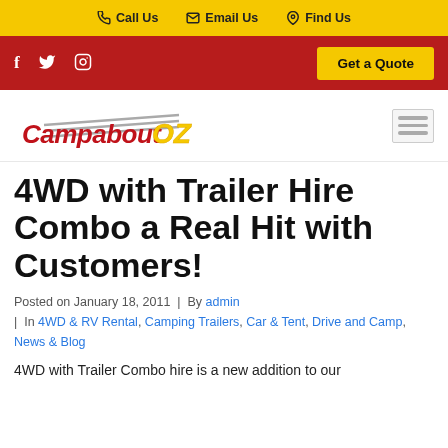Call Us  Email Us  Find Us
f  Twitter  Instagram  Get a Quote
[Figure (logo): Campabout OZ logo with red cursive text and yellow OZ lettering, with a gray trailer silhouette]
4WD with Trailer Hire Combo a Real Hit with Customers!
Posted on January 18, 2011  |  By admin  |  In 4WD & RV Rental, Camping Trailers, Car & Tent, Drive and Camp, News & Blog
4WD with Trailer Combo hire is a new addition to our